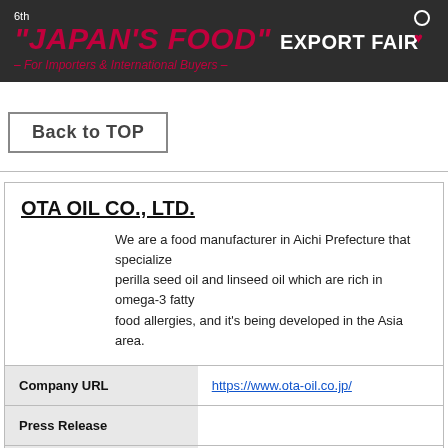6th "JAPAN'S FOOD" EXPORT FAIR – For Importers & International Buyers –
Back to TOP
OTA OIL CO., LTD.
We are a food manufacturer in Aichi Prefecture that specializes in perilla seed oil and linseed oil which are rich in omega-3 fatty food allergies, and it's being developed in the Asia area.
|  |  |
| --- | --- |
| Company URL | https://www.ota-oil.co.jp/ |
| Press Release |  |
| Export partner company | Dalian Ota Food Co., Ltd. |